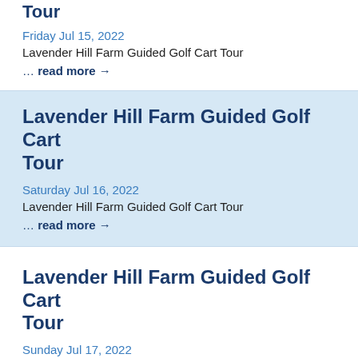Lavender Hill Farm Guided Golf Cart Tour
Friday Jul 15, 2022
Lavender Hill Farm Guided Golf Cart Tour
… read more →
Lavender Hill Farm Guided Golf Cart Tour
Saturday Jul 16, 2022
Lavender Hill Farm Guided Golf Cart Tour
… read more →
Lavender Hill Farm Guided Golf Cart Tour
Sunday Jul 17, 2022
Lavender Hill Farm Guided Golf Cart Tour